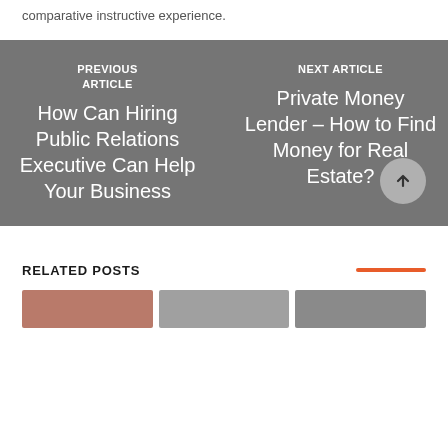comparative instructive experience.
PREVIOUS ARTICLE
How Can Hiring Public Relations Executive Can Help Your Business
NEXT ARTICLE
Private Money Lender – How to Find Money for Real Estate?
RELATED POSTS